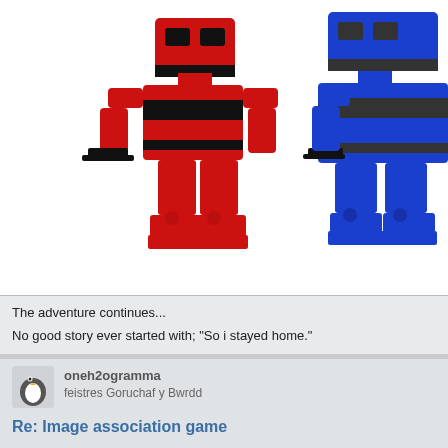[Figure (photo): Two LEGO robot figures, one red with black accents holding a black gun on the left, and one blue on the right, photographed against a white background.]
The adventure continues...
No good story ever started with; "So i stayed home."
oneh2ogramma
feistres Goruchaf y Bwrdd
Re: Image association game
Sep 9th, 2016, 8:26 pm